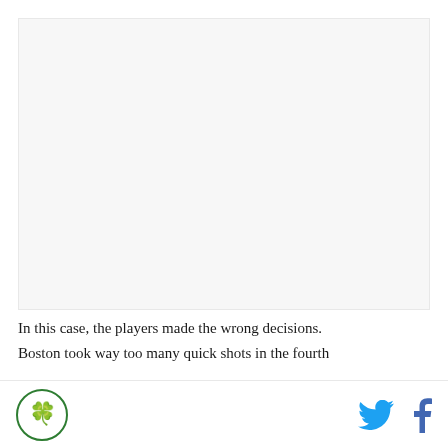[Figure (photo): Large image placeholder area with light gray background]
In this case, the players made the wrong decisions. Boston took way too many quick shots in the fourth
Logo icon and social media icons (Twitter, Facebook)